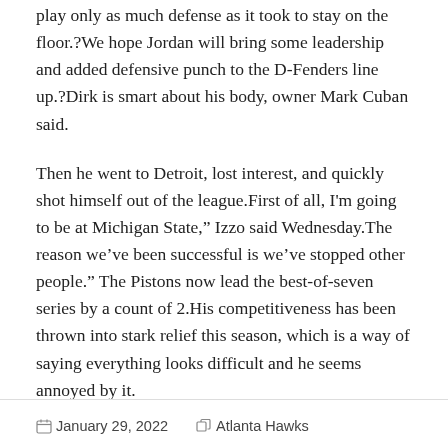play only as much defense as it took to stay on the floor.?We hope Jordan will bring some leadership and added defensive punch to the D-Fenders line up.?Dirk is smart about his body, owner Mark Cuban said.
Then he went to Detroit, lost interest, and quickly shot himself out of the league.First of all, I'm going to be at Michigan State," Izzo said Wednesday.The reason we've been successful is we've stopped other people." The Pistons now lead the best-of-seven series by a count of 2.His competitiveness has been thrown into stark relief this season, which is a way of saying everything looks difficult and he seems annoyed by it.
January 29, 2022   Atlanta Hawks